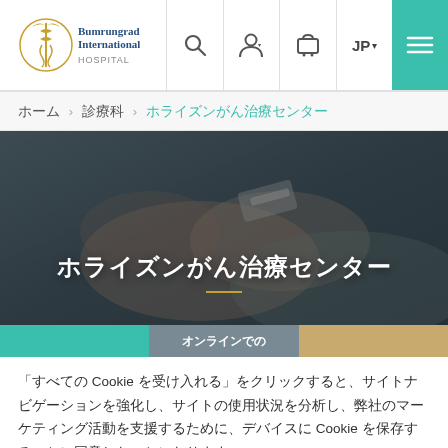[Figure (logo): Bumrungrad International Hospital logo with golden emblem]
ホーム > 診療科 > ホライズンがん治療センター
[Figure (photo): Close-up photo of a patient's hand with an IV drip, muted dark overlay]
ホライズンがん治療センター
オンラインでの
「すべての Cookie を受け入れる」をクリックすると、サイトナビゲーションを強化し、サイトの使用状況を分析し、弊社のマーケティング活動を支援するために、デバイスに Cookie を保存することに同意したことになります。